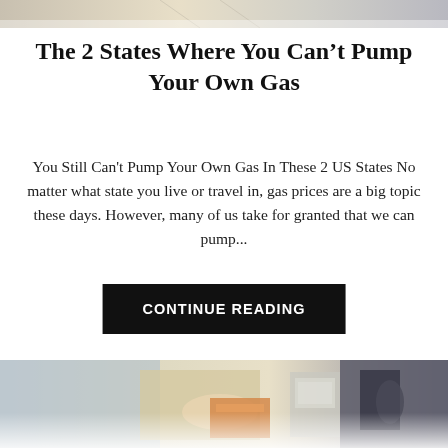[Figure (photo): Cropped top portion of a gas pump or related image, partially visible at top of page]
The 2 States Where You Can't Pump Your Own Gas
You Still Can't Pump Your Own Gas In These 2 US States No matter what state you live or travel in, gas prices are a big topic these days. However, many of us take for granted that we can pump...
CONTINUE READING
[Figure (photo): Photo of a person inserting a credit card into a gas pump payment terminal, with gas pump nozzles and equipment visible. Image has a warm vintage tint.]